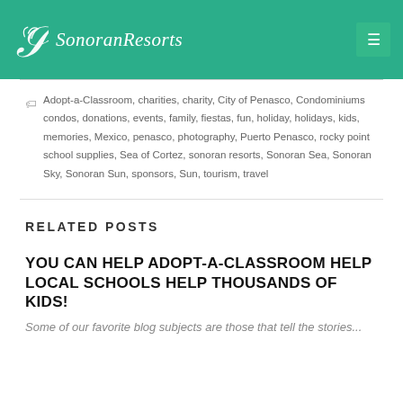Sonoran Resorts
Adopt-a-Classroom, charities, charity, City of Penasco, Condominiums condos, donations, events, family, fiestas, fun, holiday, holidays, kids, memories, Mexico, penasco, photography, Puerto Penasco, rocky point school supplies, Sea of Cortez, sonoran resorts, Sonoran Sea, Sonoran Sky, Sonoran Sun, sponsors, Sun, tourism, travel
RELATED POSTS
YOU CAN HELP ADOPT-A-CLASSROOM HELP LOCAL SCHOOLS HELP THOUSANDS OF KIDS!
Some of our favorite blog subjects are those that tell the stories...